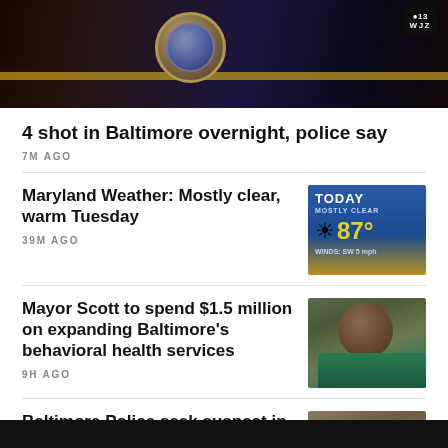[Figure (photo): Dark image of a Baltimore police badge or uniform with purple and yellow colors, CBS13 WJZ logo in top right corner]
4 shot in Baltimore overnight, police say
7M AGO
Maryland Weather: Mostly clear, warm Tuesday
[Figure (screenshot): Weather forecast image showing TODAY, MOSTLY CLEAR, 87 degrees, WINDS: SW 5 mph]
39M AGO
Mayor Scott to spend $1.5 million on expanding Baltimore's behavioral health services
[Figure (photo): Photo of Mayor Scott, a Black man in a teal shirt]
9H AGO
Baltimore Police seek suspect in stabbing of 33-year-old woman
[Figure (photo): Photo related to stabbing suspect story]